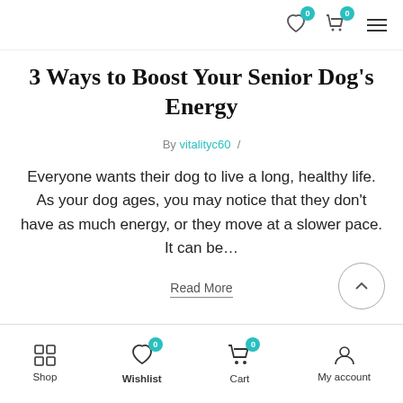Navigation bar with wishlist, cart (0), and menu icons
3 Ways to Boost Your Senior Dog's Energy
By vitalityc60 /
Everyone wants their dog to live a long, healthy life. As your dog ages, you may notice that they don't have as much energy, or they move at a slower pace. It can be...
Read More
Shop | Wishlist | Cart | My account